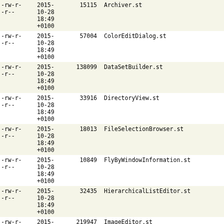| Permissions | Date | Size | Filename | Links |
| --- | --- | --- | --- | --- |
| -rw-r-
-r-- | 2015-
10-28
18:49
+0100 | 15115 | Archiver.st |  |
| -rw-r-
-r-- | 2015-
10-28
18:49
+0100 | 57004 | ColorEditDialog.st |  |
| -rw-r-
-r-- | 2015-
10-28
18:49
+0100 | 138099 | DataSetBuilder.st |  |
| -rw-r-
-r-- | 2015-
10-28
18:49
+0100 | 33916 | DirectoryView.st |  |
| -rw-r-
-r-- | 2015-
10-28
18:49
+0100 | 18013 | FileSelectionBrowser.st |  |
| -rw-r-
-r-- | 2015-
10-28
18:49
+0100 | 10849 | FlyByWindowInformation.st |  |
| -rw-r-
-r-- | 2015-
10-28
18:49
+0100 | 32435 | HierarchicalListEditor.st |  |
| -rw-r-
-r-- | 2015-
10-28
18:49
+0100 | 219947 | ImageEditor.st |  |